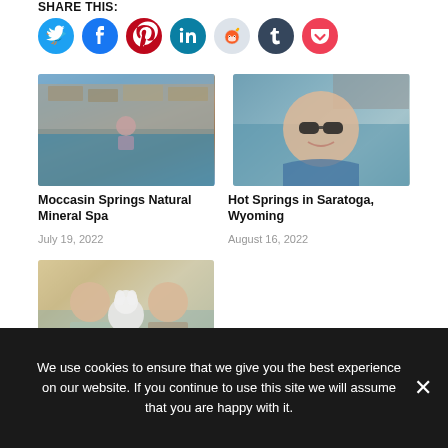Share this:
[Figure (infographic): Social share buttons row: Twitter (cyan), Facebook (blue), Pinterest (red), LinkedIn (dark teal), Reddit (light blue/grey), Tumblr (dark navy), Pocket (red)]
[Figure (photo): Person standing in a natural mineral spring pool with stone walls]
Moccasin Springs Natural Mineral Spa
July 19, 2022
[Figure (photo): Woman with sunglasses smiling in a hot spring pool]
Hot Springs in Saratoga, Wyoming
August 16, 2022
[Figure (photo): Two people and a white poodle taking a selfie outdoors]
We use cookies to ensure that we give you the best experience on our website. If you continue to use this site we will assume that you are happy with it.